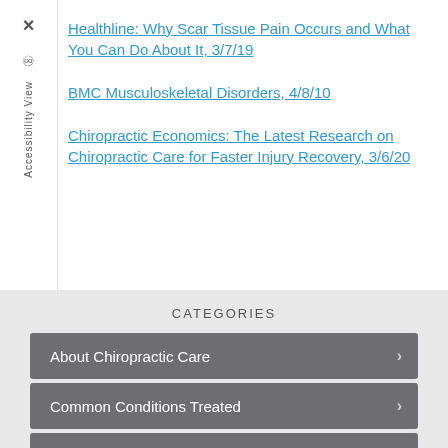Healthline: Why Scar Tissue Pain Occurs and What You Can Do About It, 3/7/19
BMC Musculoskeletal Disorders, 4/8/10
Chiropractic Economics: The Latest Research on Chiropractic Care for Faster Injury Recovery, 3/6/20
CATEGORIES
About Chiropractic Care
Common Conditions Treated
Health & Wellness